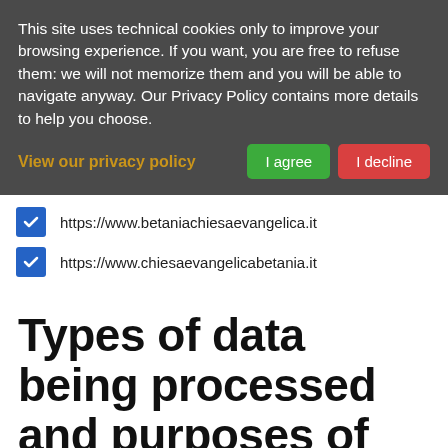This site uses technical cookies only to improve your browsing experience. If you want, you are free to refuse them: we will not memorize them and you will be able to navigate anyway. Our Privacy Policy contains more details to help you choose.
View our privacy policy
https://www.betaniachiesaevangelica.it
https://www.chiesaevangelicabetania.it
Types of data being processed and purposes of the processing